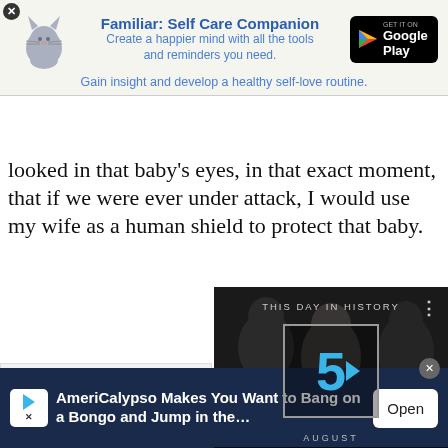[Figure (screenshot): App advertisement banner for 'Familiar: Self Care Companion' with cat icon, Google Play button, and tagline]
looked in that baby’s eyes, in that exact moment, that if we were ever under attack, I would use my wife as a human shield to protect that baby.
[Figure (screenshot): Video player overlay showing 'THIS DAY IN HISTORY' with play button, number 5, and AUGUST label, with video controls including mute and progress bar]
It’s not ‘empty ne... crap is out of your...
[Figure (screenshot): Bottom advertisement banner: 'AmeriCalypso Makes You Want to Bang on a Bongo and Jump in the...' with Open button]